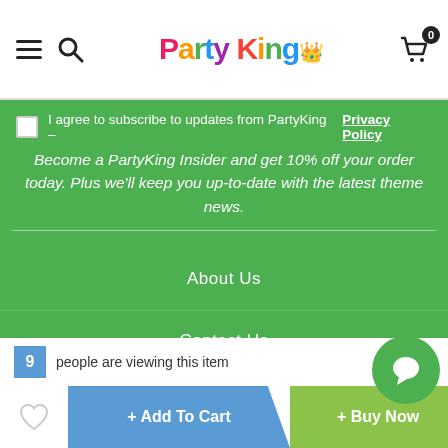PartyKing - hamburger menu, search, cart (0)
I agree to subscribe to updates from PartyKing - Privacy Policy
Become a PartyKing Insider and get 10% off your order today. Plus we'll keep you up-to-date with the latest theme news.
About Us
Contact Us
Hire Corner
Terms and Conditions
9 people are viewing this item
+ Add To Cart
+ Buy Now